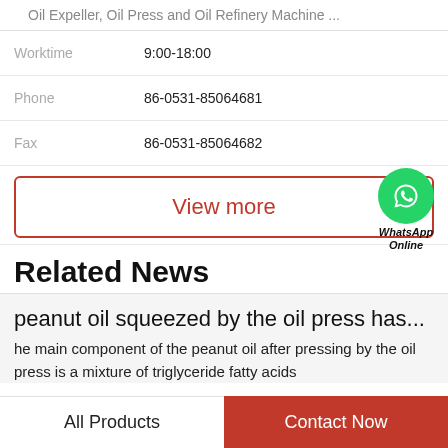Oil Expeller, Oil Press and Oil Refinery Machine ...
| Worktime | 9:00-18:00 |
| Phone | 86-0531-85064681 |
| Fax | 86-0531-85064682 |
View more
[Figure (logo): WhatsApp Online green phone icon bubble with label 'WhatsApp Online']
Related News
peanut oil squeezed by the oil press has...
he main component of the peanut oil after pressing by the oil press is a mixture of triglyceride fatty acids
All Products    Contact Now